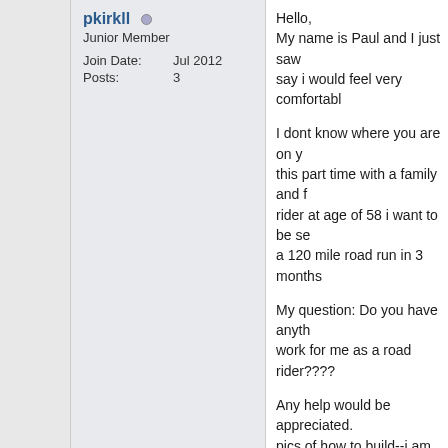pkirkll (online indicator)
Junior Member
Join Date: Jul 2012
Posts: 3
Hello,
My name is Paul and I just saw say i would feel very comfortable

I dont know where you are on y this part time with a family and f rider at age of 58 i want to be se a 120 mile road run in 3 months

My question: Do you have anyth work for me as a road rider????

Any help would be appreciated. pics of how to build--i am pretty will ook around some more and registered,,

Thanks for your work,,,I dont kn or something, bit i have a lot of on top of there buggies to keep one or two accidents a years ju

My friends operate Carriage Ma turn these things out pretty qui are very quick to pick it up.
Do you have your lights patente
OK, thanks again if you have so